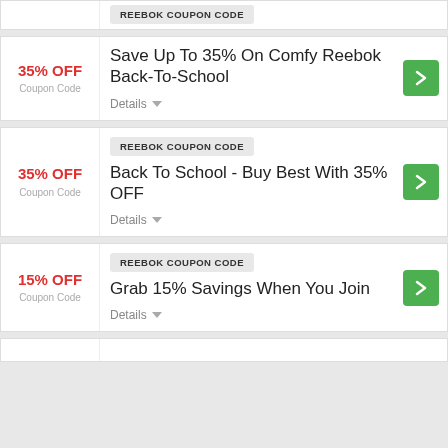REEBOK COUPON CODE
35% OFF
Coupon Code
Save Up To 35% On Comfy Reebok Back-To-School
Details
REEBOK COUPON CODE
35% OFF
Coupon Code
Back To School - Buy Best With 35% OFF
Details
REEBOK COUPON CODE
15% OFF
Coupon Code
Grab 15% Savings When You Join
Details